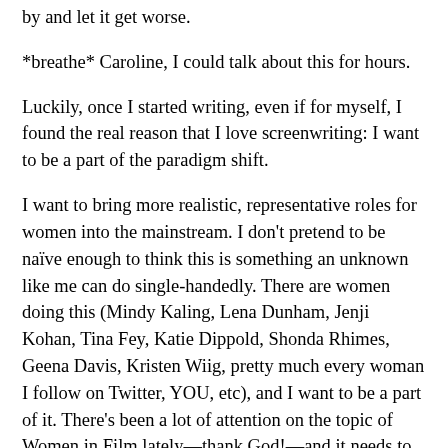by and let it get worse.
*breathe* Caroline, I could talk about this for hours.
Luckily, once I started writing, even if for myself, I found the real reason that I love screenwriting: I want to be a part of the paradigm shift.
I want to bring more realistic, representative roles for women into the mainstream. I don’t pretend to be naïve enough to think this is something an unknown like me can do single-handedly. There are women doing this (Mindy Kaling, Lena Dunham, Jenji Kohan, Tina Fey, Katie Dippold, Shonda Rhimes, Geena Davis, Kristen Wiig, pretty much every woman I follow on Twitter, YOU, etc), and I want to be a part of it. There’s been a lot of attention on the topic of Women in Film lately—thank God!—and it needs to continue. The NPR article by Linda Holmes entitled “At the Movies, The Women Are Gone” beautifully shared the experience there not being ANY movies with women or about women in theatres right now where she’s